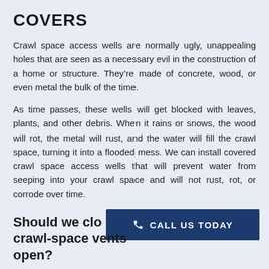COVERS
Crawl space access wells are normally ugly, unappealing holes that are seen as a necessary evil in the construction of a home or structure. They’re made of concrete, wood, or even metal the bulk of the time.
As time passes, these wells will get blocked with leaves, plants, and other debris. When it rains or snows, the wood will rot, the metal will rust, and the water will fill the crawl space, turning it into a flooded mess. We can install covered crawl space access wells that will prevent water from seeping into your crawl space and will not rust, rot, or corrode over time.
[Figure (other): Dark blue call-to-action button with phone icon and text CALL US TODAY]
Should we close or leave crawl-space vents open?